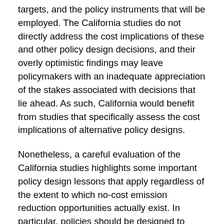targets, and the policy instruments that will be employed. The California studies do not directly address the cost implications of these and other policy design decisions, and their overly optimistic findings may leave policymakers with an inadequate appreciation of the stakes associated with decisions that lie ahead. As such, California would benefit from studies that specifically assess the cost implications of alternative policy designs.
Nonetheless, a careful evaluation of the California studies highlights some important policy design lessons that apply regardless of the extent to which no-cost emission reduction opportunities actually exist. In particular, policies should be designed to account for uncertainty regarding emission reduction costs, much of which will not be resolved before policies must be enacted. Also, consideration of the different market failures that lead to excessive GHG